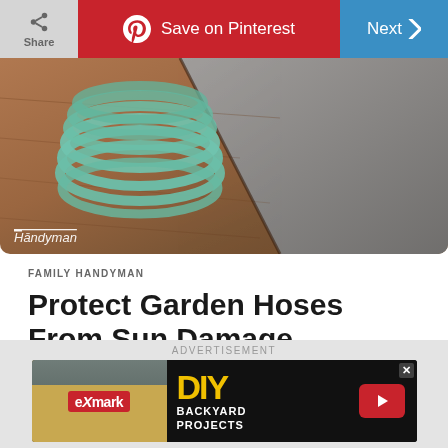[Figure (screenshot): Top navigation bar with Share button (gray), Save on Pinterest button (red with Pinterest logo), and Next button (blue) with chevron arrow]
[Figure (photo): Close-up photo of a coiled green garden hose resting on a brown wooden surface next to a gray concrete surface. Family Handyman watermark in bottom left.]
FAMILY HANDYMAN
Protect Garden Hoses From Sun Damage
UV light from the sun slowly destroys plastics, so if you can't keep your garden hose out of the sun, wipe it down with some Armor All or similar
[Figure (screenshot): Advertisement banner for eXmark DIY Backyard Projects with red play button on dark background]